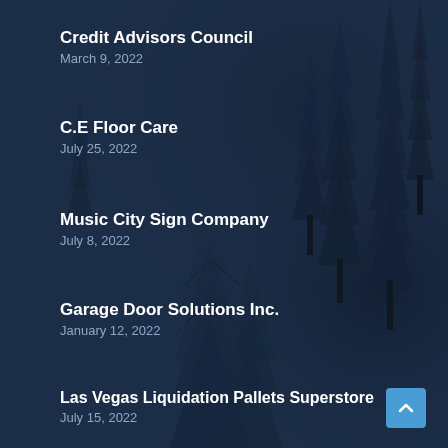Credit Advisors Council
March 9, 2022
C.E Floor Care
July 25, 2022
Music City Sign Company
July 8, 2022
Garage Door Solutions Inc.
January 12, 2022
Las Vegas Liquidation Pallets Superstore
July 15, 2022